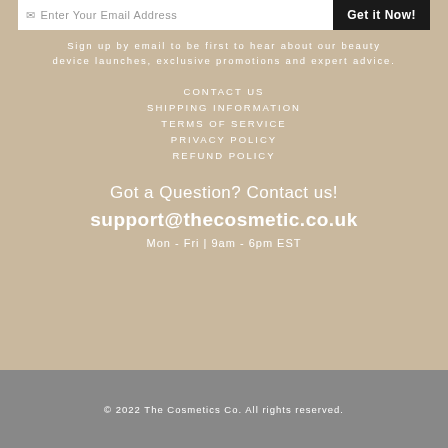Enter Your Email Address
Get it Now!
Sign up by email to be first to hear about our beauty device launches, exclusive promotions and expert advice.
CONTACT US
SHIPPING INFORMATION
TERMS OF SERVICE
PRIVACY POLICY
REFUND POLICY
Got a Question? Contact us!
support@thecosmetic.co.uk
Mon - Fri | 9am - 6pm EST
© 2022 The Cosmetics Co. All rights reserved.